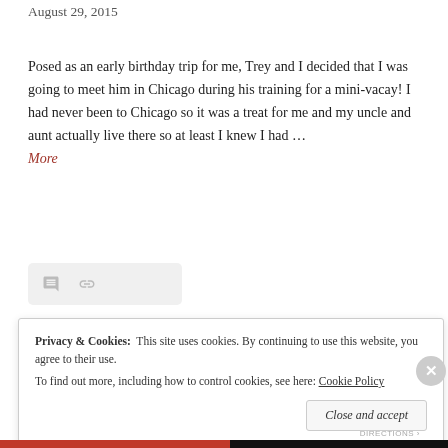August 29, 2015
Posed as an early birthday trip for me, Trey and I decided that I was going to meet him in Chicago during his training for a mini-vacay! I had never been to Chicago so it was a treat for me and my uncle and aunt actually live there so at least I knew I had … More
[Figure (photo): Partial photo of people, cropped at bottom of visible area]
Privacy & Cookies:  This site uses cookies. By continuing to use this website, you agree to their use.
To find out more, including how to control cookies, see here: Cookie Policy
Close and accept